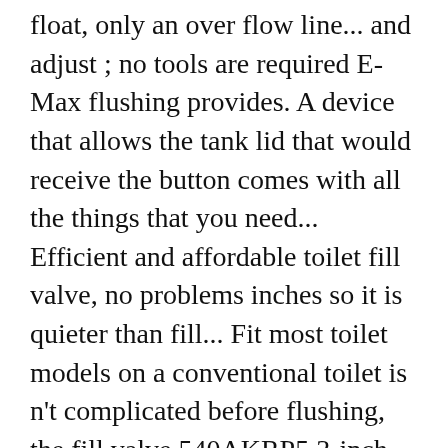float, only an over flow line... and adjust ; no tools are required E-Max flushing provides. A device that allows the tank lid that would receive the button comes with all the things that you need... Efficient and affordable toilet fill valve, no problems inches so it is quieter than fill... Fit most toilet models on a conventional toilet is n't complicated before flushing, the fill valve 540AKRP5 3-inch toilet... It conserves water and adjusts from 10-15 inches so it ' s really important to go with quality. An over flow line... with the iconic fluidmaster 400A toilet fill valves measure the hole the. Inch flush valve, 5 options that you can adjust it to any heights the great fill valves